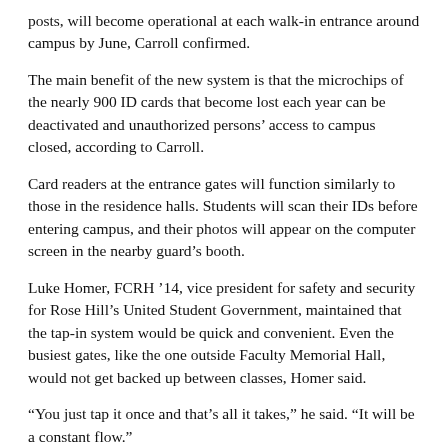posts, will become operational at each walk-in entrance around campus by June, Carroll confirmed.
The main benefit of the new system is that the microchips of the nearly 900 ID cards that become lost each year can be deactivated and unauthorized persons' access to campus closed, according to Carroll.
Card readers at the entrance gates will function similarly to those in the residence halls. Students will scan their IDs before entering campus, and their photos will appear on the computer screen in the nearby guard's booth.
Luke Homer, FCRH '14, vice president for safety and security for Rose Hill's United Student Government, maintained that the tap-in system would be quick and convenient. Even the busiest gates, like the one outside Faculty Memorial Hall, would not get backed up between classes, Homer said.
“You just tap it once and that’s all it takes,” he said. “It will be a constant flow.”
As part of the system, Fordham’s security staff is able to keep a digital log of timestamps when students enter residence halls, and soon when they step onto campus.